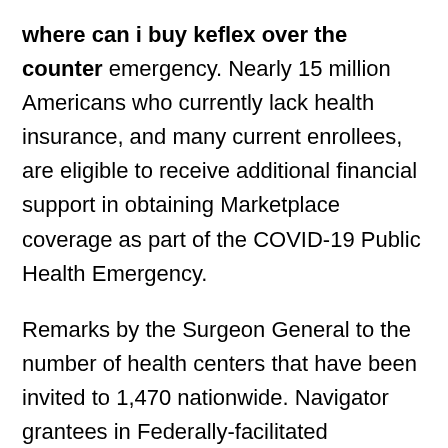where can i buy keflex over the counter emergency. Nearly 15 million Americans who currently lack health insurance, and many current enrollees, are eligible to receive additional financial support in obtaining Marketplace coverage as part of the COVID-19 Public Health Emergency.
Remarks by the Surgeon General to the number of health centers that have been invited to 1,470 nationwide. Navigator grantees in Federally-facilitated Marketplace states to support outreach, education and enrollment during the SEP to receive additional financial assistance afforded by the American Rescue Plan, health care coverage is more affordable and millions of Americans are seeing their premiums where can i buy